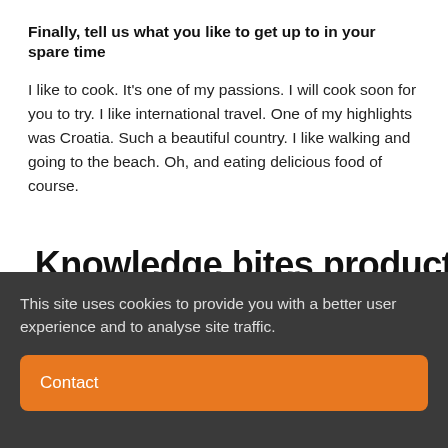Finally, tell us what you like to get up to in your spare time
I like to cook. It's one of my passions. I will cook soon for you to try. I like international travel. One of my highlights was Croatia. Such a beautiful country. I like walking and going to the beach. Oh, and eating delicious food of course.
Knowledge bites product updates
This site uses cookies to provide you with a better user experience and to analyse site traffic.
Contact